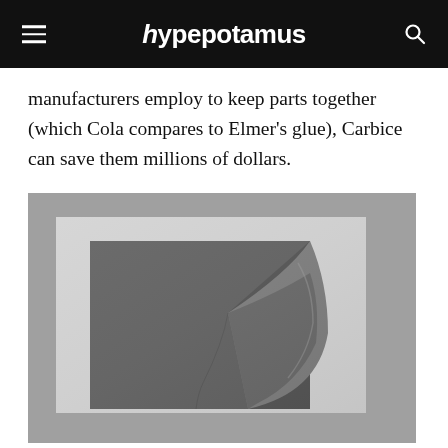hypepotamus
manufacturers employ to keep parts together (which Cola compares to Elmer’s glue), Carbice can save them millions of dollars.
[Figure (photo): A dark flexible sheet being peeled back from a metallic/silver square surface, photographed on a grey background.]